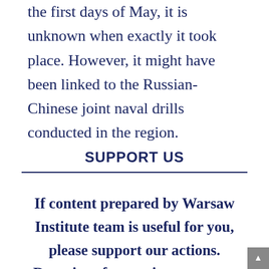the first days of May, it is unknown when exactly it took place. However, it might have been linked to the Russian-Chinese joint naval drills conducted in the region.
SUPPORT US
If content prepared by Warsaw Institute team is useful for you, please support our actions. Donations from private persons are